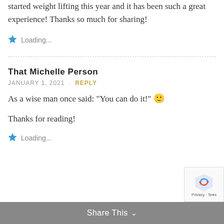started weight lifting this year and it has been such a great experience! Thanks so much for sharing!
Loading...
That Michelle Person
JANUARY 1, 2021 · REPLY
As a wise man once said: "You can do it!" 🙂
Thanks for reading!
Loading...
Share This ∨